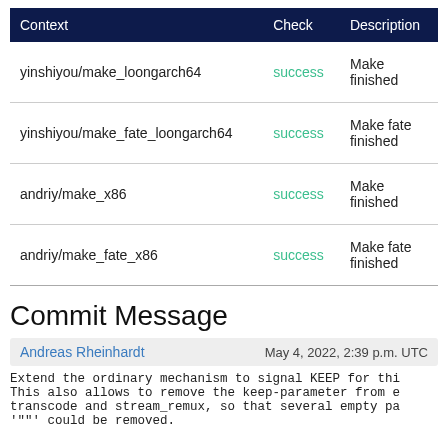| Context | Check | Description |
| --- | --- | --- |
| yinshiyou/make_loongarch64 | success | Make finished |
| yinshiyou/make_fate_loongarch64 | success | Make fate finished |
| andriy/make_x86 | success | Make finished |
| andriy/make_fate_x86 | success | Make fate finished |
Commit Message
Andreas Rheinhardt    May 4, 2022, 2:39 p.m. UTC
Extend the ordinary mechanism to signal KEEP for thi
This also allows to remove the keep-parameter from e
transcode and stream_remux, so that several empty pa
'""' could be removed.